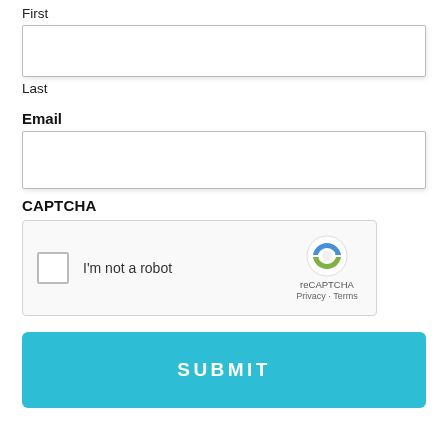First
[Figure (other): Empty text input box for First name field]
Last
Email
[Figure (other): Empty text input box for Email field]
CAPTCHA
[Figure (other): reCAPTCHA widget with checkbox saying I'm not a robot, reCAPTCHA logo, Privacy and Terms links]
[Figure (other): SUBMIT button in teal/cyan color with white bold text]